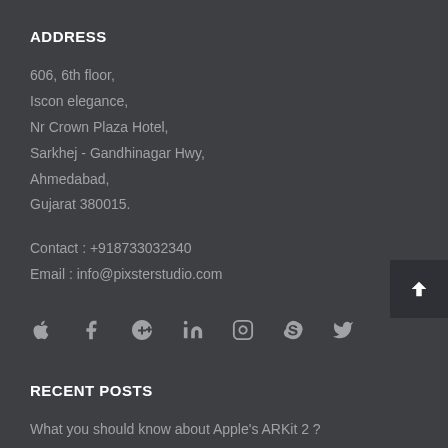ADDRESS
606, 6th floor,
Iscon elegance,
Nr Crown Plaza Hotel,
Sarkhej - Gandhinagar Hwy,
Ahmedabad,
Gujarat 380015.
Contact : +918733032340
Email : info@pixsterstudio.com
[Figure (other): Row of social media icons: Apple, Facebook, Google+, LinkedIn, Instagram, Skype, Twitter]
RECENT POSTS
What you should know about Apple's ARKit 2 ?
Get your apps ready for iOS 12!